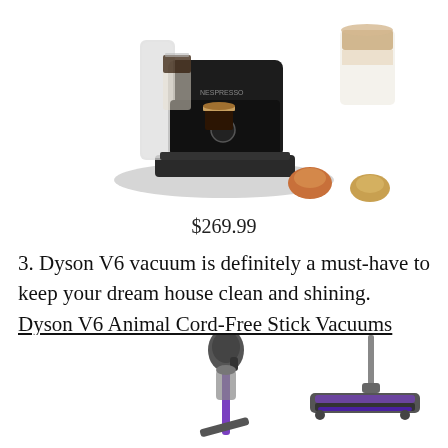[Figure (photo): Nespresso coffee machine in black with glass of espresso, latte, and coffee capsules]
$269.99
3. Dyson V6 vacuum is definitely a must-have to keep your dream house clean and shining. Dyson V6 Animal Cord-Free Stick Vacuums have a range of amazing colors like Fuchsia and Iron.
[Figure (photo): Two Dyson V6 vacuum cleaners shown side by side — one showing the floor head attachment and one showing the full stick vacuum in purple/iron color]